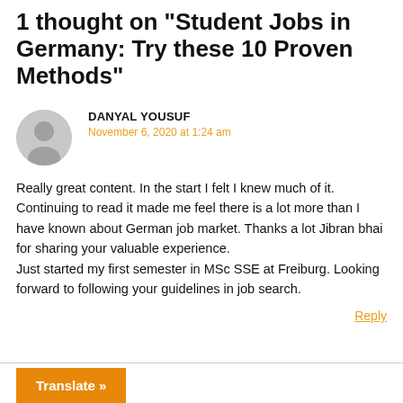1 thought on "Student Jobs in Germany: Try these 10 Proven Methods"
DANYAL YOUSUF
November 6, 2020 at 1:24 am
Really great content. In the start I felt I knew much of it. Continuing to read it made me feel there is a lot more than I have known about German job market. Thanks a lot Jibran bhai for sharing your valuable experience.
Just started my first semester in MSc SSE at Freiburg. Looking forward to following your guidelines in job search.
Reply
Translate »